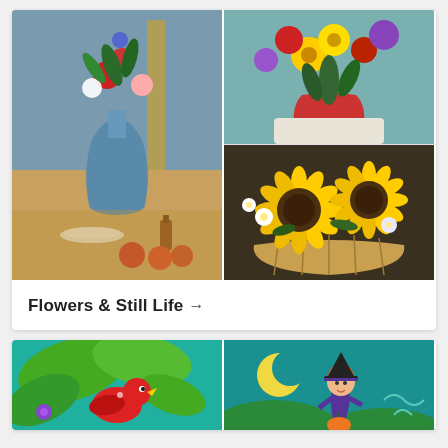[Figure (photo): Grid of 3 flower paintings: left - Cézanne-style blue vase with red, pink, white flowers, apples and dishes on table; top-right - colorful flower bouquet with yellow, red, purple flowers in red pot; bottom-right - sunflowers and daisies in woven basket]
Flowers & Still Life →
[Figure (photo): Two children's cartoon illustrations: left - red bird/parrot on green tropical leaves with purple flower; right - witch girl with orange hair and black hat beside crescent moon on teal background]